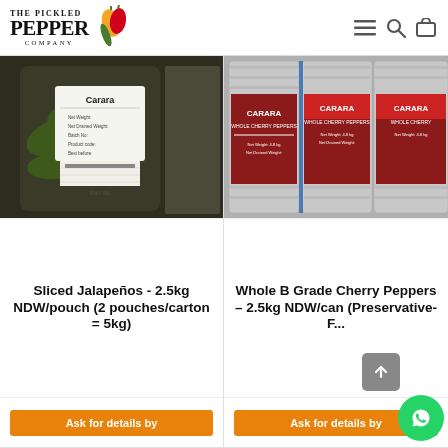The Pickled Pepper Company
[Figure (photo): Bag of Carara sliced jalapeños with product label]
Sliced Jalapeños - 2.5kg NDW/pouch (2 pouches/carton = 5kg)
Ask for details by
[Figure (photo): Carara branded tin cans of Whole Cherry Peppers]
Whole B Grade Cherry Peppers – 2.5kg NDW/can (Preservative-F...
Ask for details by